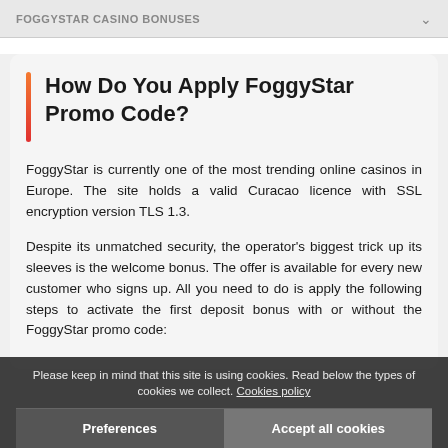FOGGYSTAR CASINO BONUSES
How Do You Apply FoggyStar Promo Code?
FoggyStar is currently one of the most trending online casinos in Europe. The site holds a valid Curacao licence with SSL encryption version TLS 1.3.
Despite its unmatched security, the operator's biggest trick up its sleeves is the welcome bonus. The offer is available for every new customer who signs up. All you need to do is apply the following steps to activate the first deposit bonus with or without the FoggyStar promo code:
Please keep in mind that this site is using cookies. Read below the types of cookies we collect. Cookies policy